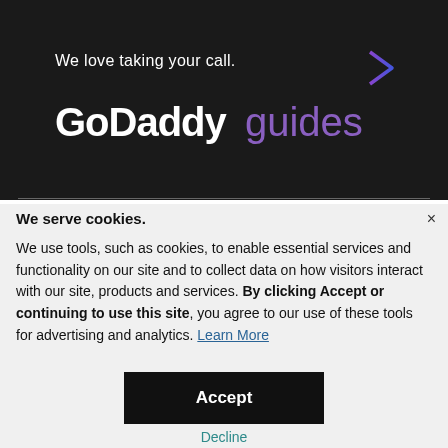We love taking your call.
[Figure (illustration): Purple to blue gradient arrow pointing right]
GoDaddy guides
We serve cookies.
We use tools, such as cookies, to enable essential services and functionality on our site and to collect data on how visitors interact with our site, products and services. By clicking Accept or continuing to use this site, you agree to our use of these tools for advertising and analytics. Learn More
Accept
Decline
Manage Settings